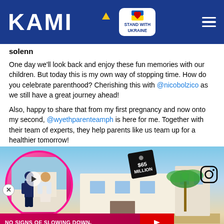KAMI — STAND WITH UKRAINE
solenn
One day we'll look back and enjoy these fun memories with our children. But today this is my own way of stopping time. How do you celebrate parenthood? Cherishing this with @nicobolzico as we still have a great journey ahead!
Also, happy to share that from my first pregnancy and now onto my second, @wyethparenteamph is here for me. Together with their team of experts, they help parents like us team up for a healthier tomorrow!
[Figure (screenshot): Video thumbnail ad showing a couple near a luxury property with a $65 MILLION price tag, with a pink circle frame on the left. Bottom bar reads NO SIGNS OF SLOWING DOWN with a red chevron button.]
https://adclick.g.doubleclick.net/pcs/click?xai=AKAOjstqZpc5jX8ij1oT8gWdjkwno0M9EJ2XFD0Q0D0z6ZN7iwxCgUK3vMvcPmdQCcEkz